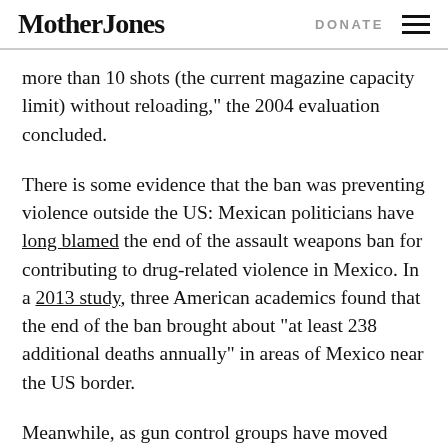Mother Jones   DONATE
more than 10 shots (the current magazine capacity limit) without reloading,” the 2004 evaluation concluded.
There is some evidence that the ban was preventing violence outside the US: Mexican politicians have long blamed the end of the assault weapons ban for contributing to drug-related violence in Mexico. In a 2013 study, three American academics found that the end of the ban brought about “at least 238 additional deaths annually” in areas of Mexico near the US border.
Meanwhile, as gun control groups have moved their focus away from gun bans, Americans are buying